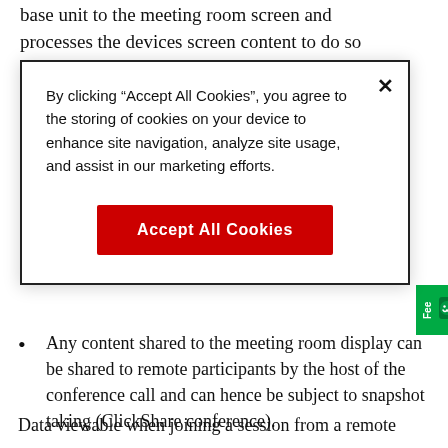base unit to the meeting room screen and processes the devices screen content to do so
By clicking "Accept All Cookies", you agree to the storing of cookies on your device to enhance site navigation, analyze site usage, and assist in our marketing efforts.
Accept All Cookies
Any content shared to the meeting room display can be shared to remote participants by the host of the conference call and can hence be subject to snapshot taking (ClickShare conference).
The meeting room audio and video can be shared to remote participants by the host of the conference call and can hence be subject to snapshot taking (ClickShare conference).
Data viewable when joining a session from a remote